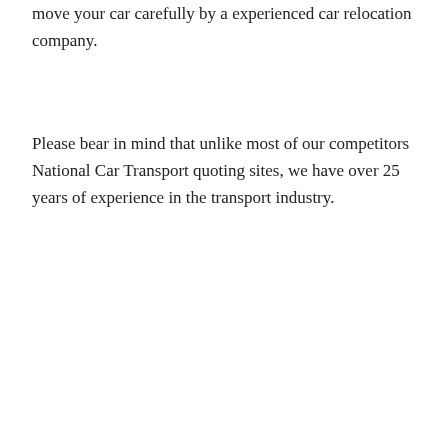move your car carefully by a experienced car relocation company.
Please bear in mind that unlike most of our competitors National Car Transport quoting sites, we have over 25 years of experience in the transport industry.